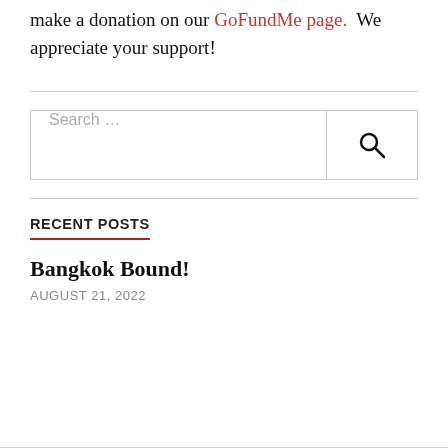make a donation on our GoFundMe page.  We appreciate your support!
Search ...
RECENT POSTS
Bangkok Bound!
AUGUST 21, 2022